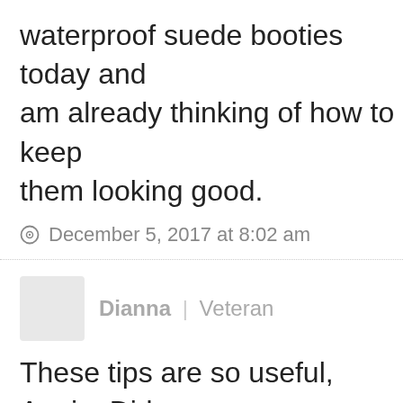waterproof suede booties today and am already thinking of how to keep them looking good.
December 5, 2017 at 8:02 am
Dianna | Veteran
These tips are so useful, Angie. Didn't know any of them. I have a very old of white leather sneakers that I don't